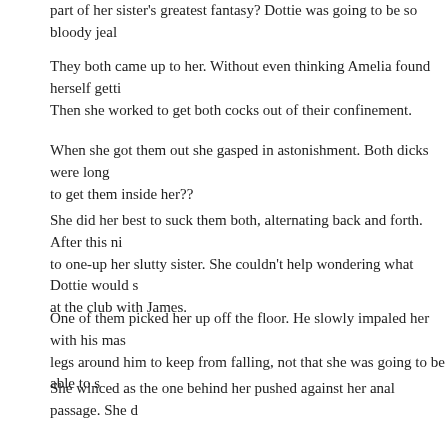part of her sister's greatest fantasy? Dottie was going to be so bloody jeal...
They both came up to her. Without even thinking Amelia found herself getti... Then she worked to get both cocks out of their confinement.
When she got them out she gasped in astonishment. Both dicks were long... to get them inside her??
She did her best to suck them both, alternating back and forth. After this ni... to one-up her slutty sister. She couldn't help wondering what Dottie would s... at the club with James.
One of them picked her up off the floor. He slowly impaled her with his mas... legs around him to keep from falling, not that she was going to be able to s...
She winced as the one behind her pushed against her anal passage. She d... but her back door had already been used enough that it went in easier tha...
She felt both cocks inside her, thrusting in and out while rubbing against th... other. That's when Amelia let out a scream. She didn't know whether it was... passion. Maybe it was a little bit of all three.
Once more she got a view of the monitor and its many screens cycling thro... eye. It was James fucking a woman in another sex room!